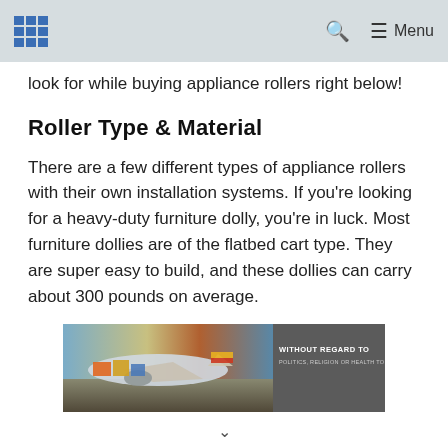ECM logo | Search | Menu
look for while buying appliance rollers right below!
Roller Type & Material
There are a few different types of appliance rollers with their own installation systems. If you're looking for a heavy-duty furniture dolly, you're in luck. Most furniture dollies are of the flatbed cart type. They are super easy to build, and these dollies can carry about 300 pounds on average.
[Figure (photo): Advertisement banner showing an airplane being loaded with cargo on a tarmac, with text overlay reading 'WITHOUT REGARD TO POLITICS, RELIGION OR HEALTH TO ALL']